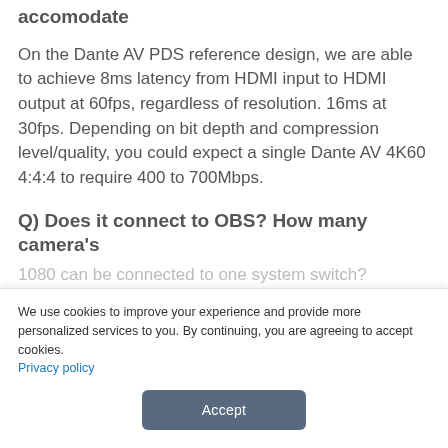accomodate
On the Dante AV PDS reference design, we are able to achieve 8ms latency from HDMI input to HDMI output at 60fps, regardless of resolution. 16ms at 30fps. Depending on bit depth and compression level/quality, you could expect a single Dante AV 4K60 4:4:4 to require 400 to 700Mbps.
Q) Does it connect to OBS? How many camera's
1080 can be connected to one system switch?
We use cookies to improve your experience and provide more personalized services to you. By continuing, you are agreeing to accept cookies. Privacy policy
Accept